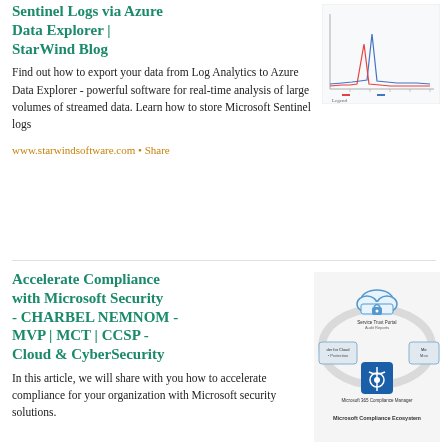Sentinel Logs via Azure Data Explorer | StarWind Blog
[Figure (line-chart): A small line chart thumbnail showing time-series data with red and blue spikes, representing log analytics data.]
Find out how to export your data from Log Analytics to Azure Data Explorer - powerful software for real-time analysis of large volumes of streamed data. Learn how to store Microsoft Sentinel logs
www.starwindsoftware.com • Share
Accelerate Compliance with Microsoft Security - CHARBEL NEMNOM - MVP | MCT | CCSP - Cloud & CyberSecurity
[Figure (infographic): Microsoft Compliance Ecosystem diagram showing Service Trust Portal, Audit Reports, Defender for Cloud, Microsoft 365 Compliance Manager in a circular arrangement.]
In this article, we will share with you how to accelerate compliance for your organization with Microsoft security solutions.